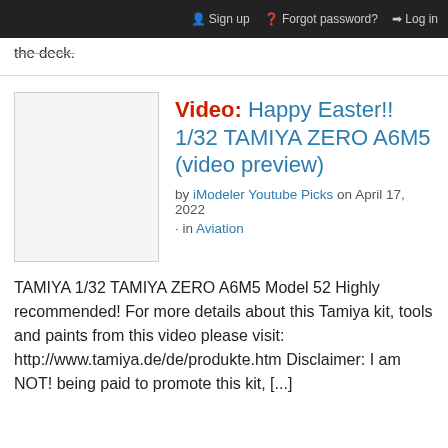Sign up  Forgot password?  Log in
the deck.
Video: Happy Easter!! 1/32 TAMIYA ZERO A6M5 (video preview)
by iModeler Youtube Picks on April 17, 2022
· in Aviation
TAMIYA 1/32 TAMIYA ZERO A6M5 Model 52 Highly recommended! For more details about this Tamiya kit, tools and paints from this video please visit: http://www.tamiya.de/de/produkte.htm Disclaimer: I am NOT! being paid to promote this kit, [...]